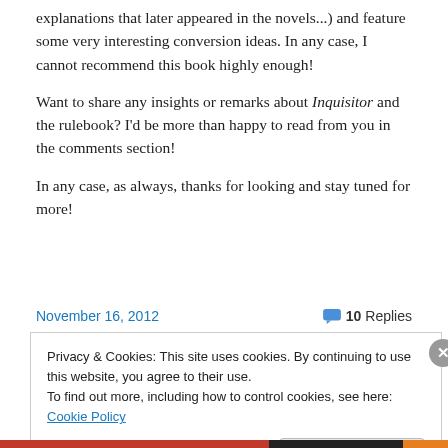explanations that later appeared in the novels...) and feature some very interesting conversion ideas. In any case, I cannot recommend this book highly enough!
Want to share any insights or remarks about Inquisitor and the rulebook? I'd be more than happy to read from you in the comments section!
In any case, as always, thanks for looking and stay tuned for more!
November 16, 2012   💬 10 Replies
Privacy & Cookies: This site uses cookies. By continuing to use this website, you agree to their use.
To find out more, including how to control cookies, see here: Cookie Policy
Close and accept